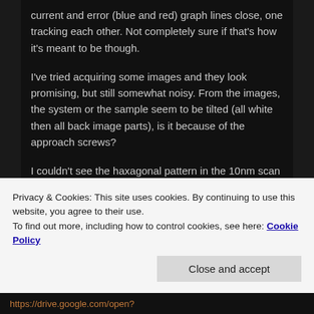current and error (blue and red) graph lines close, one tracking each other. Not completely sure if that's how it's meant to be though.
I've tried acquiring some images and they look promising, but still somewhat noisy. From the images, the system or the sample seem to be tilted (all white then all back image parts), is it because of the approach screws?
I couldn't see the haxagonal pattern in the 10nm scan yet, but the last 400nm scans resemble yours. Do you thing there's really something on these images or is it just noise? Also, how may I
Privacy & Cookies: This site uses cookies. By continuing to use this website, you agree to their use.
To find out more, including how to control cookies, see here: Cookie Policy
https://drive.google.com/open?